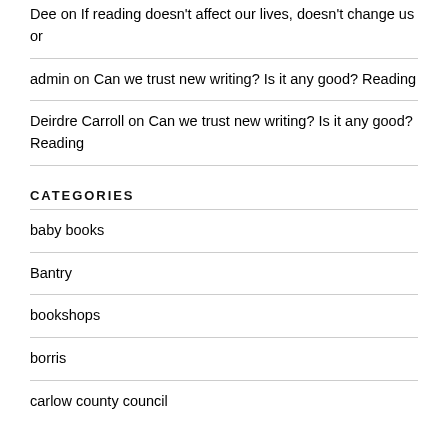Dee on If reading doesn't affect our lives, doesn't change us or
admin on Can we trust new writing? Is it any good? Reading
Deirdre Carroll on Can we trust new writing? Is it any good? Reading
CATEGORIES
baby books
Bantry
bookshops
borris
carlow county council